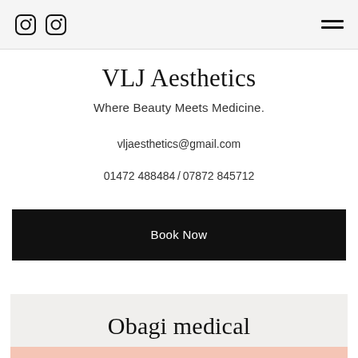Navigation bar with Instagram icons and hamburger menu
VLJ Aesthetics
Where Beauty Meets Medicine.
vljaesthetics@gmail.com
01472 488484 / 07872 845712
Book Now
Obagi medical